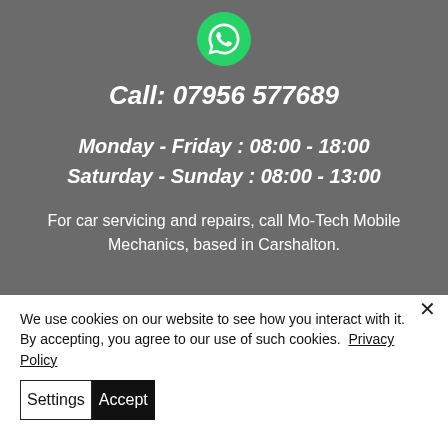[Figure (logo): WhatsApp logo — green circle with white phone handset icon]
Call: 07956 577689
Monday - Friday : 08:00 - 18:00
Saturday - Sunday : 08:00 - 13:00
For car servicing and repairs, call Mo-Tech Mobile Mechanics, based in Carshalton.
We use cookies on our website to see how you interact with it. By accepting, you agree to our use of such cookies.  Privacy Policy
Settings
Accept